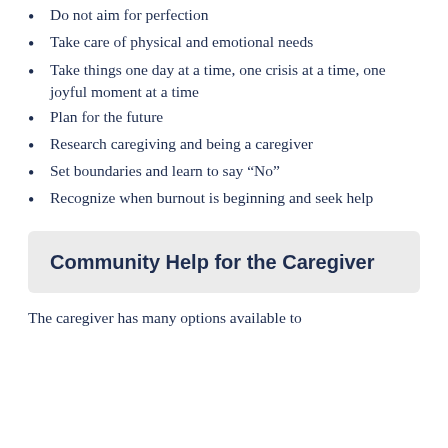Do not aim for perfection
Take care of physical and emotional needs
Take things one day at a time, one crisis at a time, one joyful moment at a time
Plan for the future
Research caregiving and being a caregiver
Set boundaries and learn to say “No”
Recognize when burnout is beginning and seek help
Community Help for the Caregiver
The caregiver has many options available to